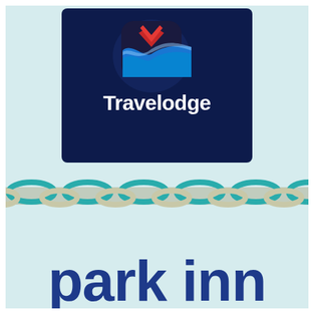[Figure (logo): Travelodge logo on dark navy blue rectangular background with rounded corners. The logo shows a stylized rounded-square icon with red, blue and white wave shapes, and white text 'Travelodge' below it. The whole logo card sits on a light blue background with a decorative chain-link pattern band at the bottom.]
[Figure (logo): Park Inn logo text in large bold dark blue letters reading 'park inn' on a light blue background, with a decorative teal and tan chain-link pattern band at the top.]